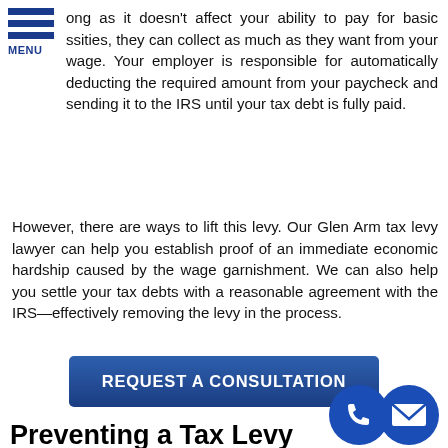[Figure (other): Hamburger menu icon with three blue horizontal bars and MENU label below]
ong as it doesn't affect your ability to pay for basic ssities, they can collect as much as they want from your wage. Your employer is responsible for automatically deducting the required amount from your paycheck and sending it to the IRS until your tax debt is fully paid.
However, there are ways to lift this levy. Our Glen Arm tax levy lawyer can help you establish proof of an immediate economic hardship caused by the wage garnishment. We can also help you settle your tax debts with a reasonable agreement with the IRS—effectively removing the levy in the process.
[Figure (other): Dark blue button with text REQUEST A CONSULTATION]
Preventing a Tax Levy
As one of the leading law firms specializing in tax-related cases, Defense Tax Partners can always be there to remove a tax levy. We can expertly assess your situation and
[Figure (other): Floating circular phone icon (dark blue) and email/envelope icon (dark blue) overlapping in bottom right]